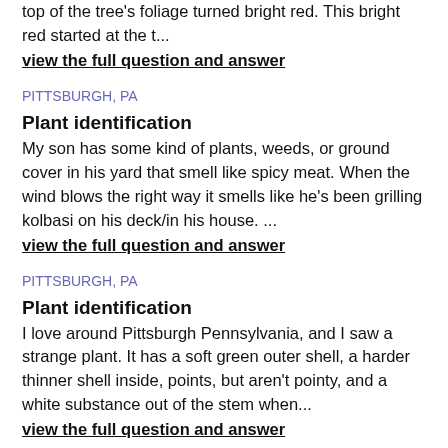top of the tree's foliage turned bright red. This bright red started at the t...
view the full question and answer
PITTSBURGH, PA
Plant identification
My son has some kind of plants, weeds, or ground cover in his yard that smell like spicy meat. When the wind blows the right way it smells like he's been grilling kolbasi on his deck/in his house. ...
view the full question and answer
PITTSBURGH, PA
Plant identification
I love around Pittsburgh Pennsylvania, and I saw a strange plant. It has a soft green outer shell, a harder thinner shell inside, points, but aren't pointy, and a white substance out of the stem when...
view the full question and answer
PITTSBURGH, PA
Deer resistant plants for erosion control on steep hill
I would like control a steep hill behind my house that is red clay, northern exposure with little sun. What plants would